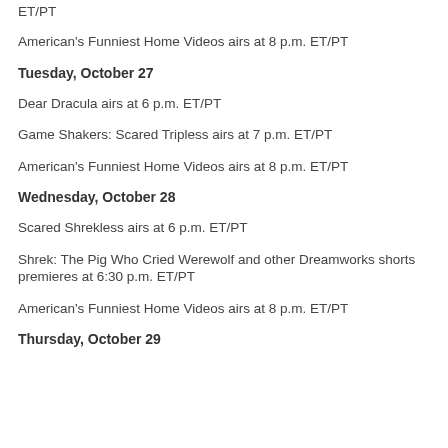ET/PT
American's Funniest Home Videos airs at 8 p.m. ET/PT
Tuesday, October 27
Dear Dracula airs at 6 p.m. ET/PT
Game Shakers: Scared Tripless airs at 7 p.m. ET/PT
American's Funniest Home Videos airs at 8 p.m. ET/PT
Wednesday, October 28
Scared Shrekless airs at 6 p.m. ET/PT
Shrek: The Pig Who Cried Werewolf and other Dreamworks shorts premieres at 6:30 p.m. ET/PT
American's Funniest Home Videos airs at 8 p.m. ET/PT
Thursday, October 29